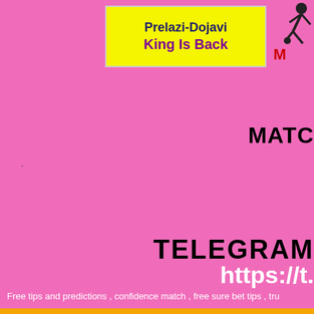Prelazi-Dojavi King Is Back
[Figure (logo): Soccer player silhouette with red letter M logo, partially visible at top right]
MATC
TELEGRAM https://t.
Free tips and predictions , confidence match , free sure bet tips , tru